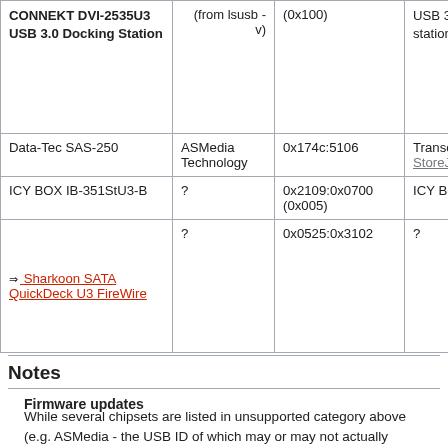| Device | Chipset | USB ID | Works with |
| --- | --- | --- | --- |
| CONNEKT DVI-2535U3 USB 3.0 Docking Station | (from lsusb - v) | 0x1 (0x100) | USB 3.0 docking station |
| Data-Tec SAS-250 | ASMedia Technology | 0x174c:5106 | Transcend StoreJet? 25... |
| ICY BOX IB-351StU3-B | ? | 0x2109:0x0700 (0x005) | ICY BOX |
| Sharkoon SATA QuickDeck U3 FireWire | ? | 0x0525:0x3102 | ? |
Notes
Firmware updates
While several chipsets are listed in unsupported category above (e.g. ASMedia - the USB ID of which may or may not actually indicate an ASMedia chip), there might actually be "better" firmware available. Given sufficient(!) Internet research one might